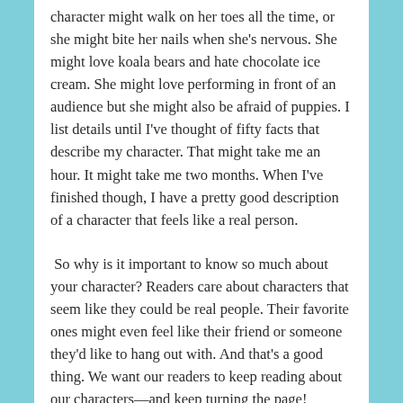character might walk on her toes all the time, or she might bite her nails when she's nervous. She might love koala bears and hate chocolate ice cream. She might love performing in front of an audience but she might also be afraid of puppies. I list details until I've thought of fifty facts that describe my character. That might take me an hour. It might take me two months. When I've finished though, I have a pretty good description of a character that feels like a real person.
So why is it important to know so much about your character? Readers care about characters that seem like they could be real people. Their favorite ones might even feel like their friend or someone they'd like to hang out with. And that's a good thing. We want our readers to keep reading about our characters—and keep turning the page!